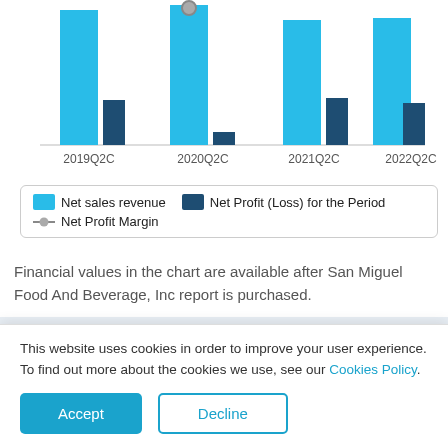[Figure (grouped-bar-chart): Net sales revenue, Net Profit (Loss) for the Period, Net Profit Margin]
Financial values in the chart are available after San Miguel Food And Beverage, Inc report is purchased.
LOOKING FOR MORE THAN JUST A COMPANY REPORT?
EMIS company profiles are part of a larger...
This website uses cookies in order to improve your user experience. To find out more about the cookies we use, see our Cookies Policy.